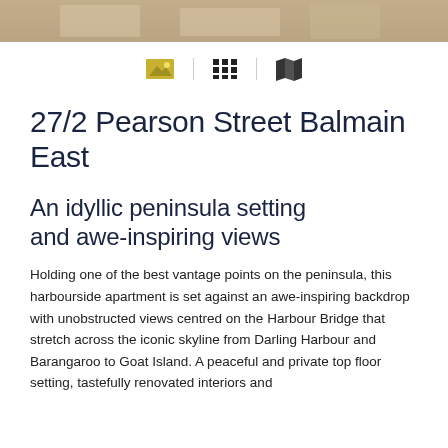[Figure (photo): Top cropped photo strip showing a property interior or exterior scene]
[Figure (infographic): Icon bar with three view mode icons: photo/image icon, grid icon, and map icon, separated by vertical dividers]
27/2 Pearson Street Balmain East
An idyllic peninsula setting and awe-inspiring views
Holding one of the best vantage points on the peninsula, this harbourside apartment is set against an awe-inspiring backdrop with unobstructed views centred on the Harbour Bridge that stretch across the iconic skyline from Darling Harbour and Barangaroo to Goat Island. A peaceful and private top floor setting, tastefully renovated interiors and